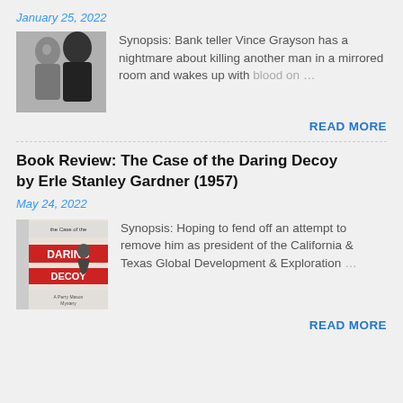January 25, 2022
[Figure (photo): Black and white photo of two people, one facing the camera and one from behind]
Synopsis: Bank teller Vince Grayson has a nightmare about killing another man in a mirrored room and wakes up with blood on …
READ MORE
Book Review: The Case of the Daring Decoy by Erle Stanley Gardner (1957)
May 24, 2022
[Figure (photo): Book cover of 'The Case of the Daring Decoy' showing a woman in a dress with the title in red letters]
Synopsis: Hoping to fend off an attempt to remove him as president of the California & Texas Global Development & Exploration …
READ MORE